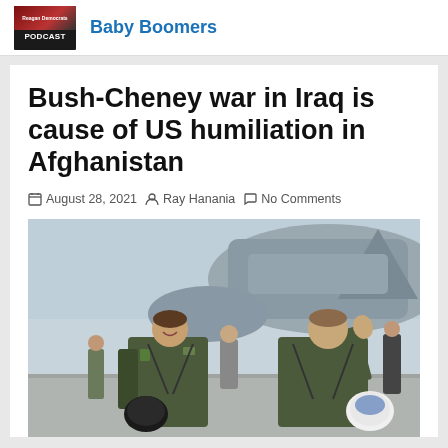[Figure (logo): Reagan Democrats Podcast logo thumbnail]
Baby Boomers
Bush-Cheney war in Iraq is cause of US humiliation in Afghanistan
August 28, 2021  Ray Hanania  No Comments
[Figure (photo): Two men in military flight suits carrying helmets, walking near a military aircraft on a tarmac. The man on the right is waving. Other people are visible in the background.]